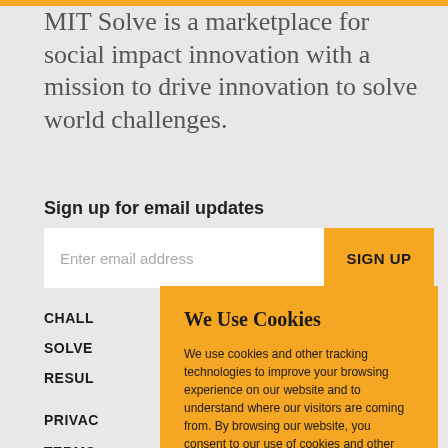MIT Solve is a marketplace for social impact innovation with a mission to drive innovation to solve world challenges.
Sign up for email updates
Enter email address
SIGN UP
CHALLENGES
SOLVERS
RESULTS
PRIVACY
TERMS OF SERVICE
We Use Cookies
We use cookies and other tracking technologies to improve your browsing experience on our website and to understand where our visitors are coming from. By browsing our website, you consent to our use of cookies and other tracking technologies.
ACCEPT
REJECT